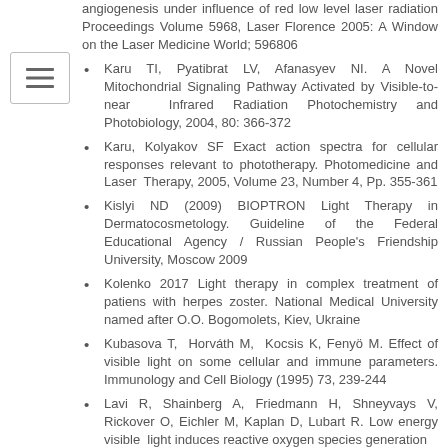angiogenesis under influence of red low level laser radiation Proceedings Volume 5968, Laser Florence 2005: A Window on the Laser Medicine World; 596806
Karu TI, Pyatibrat LV, Afanasyev NI. A Novel Mitochondrial Signaling Pathway Activated by Visible-to-near Infrared Radiation Photochemistry and Photobiology, 2004, 80: 366-372
Karu, Kolyakov SF Exact action spectra for cellular responses relevant to phototherapy. Photomedicine and Laser Therapy, 2005, Volume 23, Number 4, Pp. 355-361
Kislyi ND (2009) BIOPTRON Light Therapy in Dermatocosmetology. Guideline of the Federal Educational Agency / Russian People's Friendship University, Moscow 2009
Kolenko 2017 Light therapy in complex treatment of patiens with herpes zoster. National Medical University named after O.O. Bogomolets, Kiev, Ukraine
Kubasova T, Horváth M, Kocsis K, Fenyö M. Effect of visible light on some cellular and immune parameters. Immunology and Cell Biology (1995) 73, 239-244
Lavi R, Shainberg A, Friedmann H, Shneyvays V, Rickover O, Eichler M, Kaplan D, Lubart R. Low energy visible light induces reactive oxygen species generation